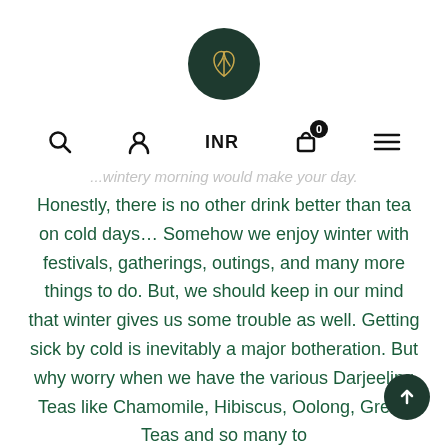[Figure (logo): Dark green circular logo with a golden leaf/plant emblem in the center]
[Figure (infographic): Navigation bar with search icon, user icon, INR currency label, shopping cart icon with badge showing 0, and hamburger menu icon]
...wintery morning would make your day.
Honestly, there is no other drink better than tea on cold days… Somehow we enjoy winter with festivals, gatherings, outings, and many more things to do. But, we should keep in our mind that winter gives us some trouble as well. Getting sick by cold is inevitably a major botheration. But why worry when we have the various Darjeeling Teas like Chamomile, Hibiscus, Oolong, Green Teas and so many to